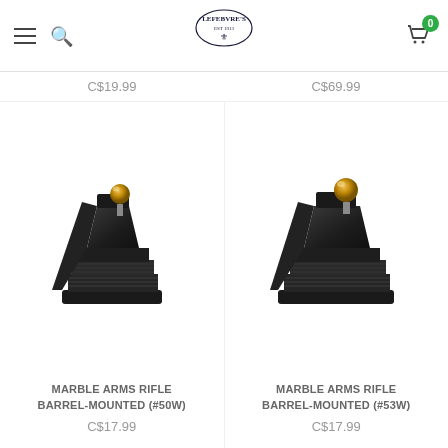Lefebvre's — Navigation header with hamburger menu, search, logo, and cart (0 items)
C$19.99  C$69.99
[Figure (photo): Marble Arms rifle barrel-mounted front sight #50W — a black steel sight base with horizontal serrations and a gold/brass bead on top, viewed at an angle]
MARBLE ARMS RIFLE BARREL-MOUNTED (#50W)
C$17.99
[Figure (photo): Marble Arms rifle barrel-mounted front sight #53W — a similar black steel sight base with horizontal serrations and a gold/brass bead on top, slightly wider, viewed at an angle]
MARBLE ARMS RIFLE BARREL-MOUNTED (#53W)
C$17.99